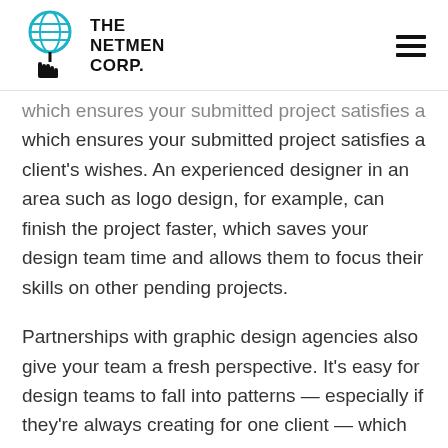[Figure (logo): The Netmen Corp logo — a globe with a hand/cursor beneath it, next to bold text reading THE NETMEN CORP.]
which ensures your submitted project satisfies a client's wishes. An experienced designer in an area such as logo design, for example, can finish the project faster, which saves your design team time and allows them to focus their skills on other pending projects.
Partnerships with graphic design agencies also give your team a fresh perspective. It's easy for design teams to fall into patterns — especially if they're always creating for one client — which can result in project submissions that work for customers but are uninspired. An outsourced graphic designer,